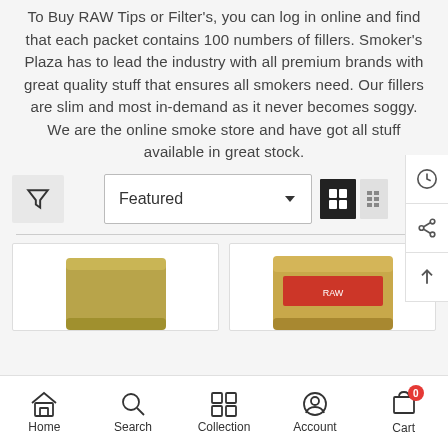To Buy RAW Tips or Filter's, you can log in online and find that each packet contains 100 numbers of fillers. Smoker's Plaza has to lead the industry with all premium brands with great quality stuff that ensures all smokers need. Our fillers are slim and most in-demand as it never becomes soggy. We are the online smoke store and have got all stuff available in great stock.
[Figure (screenshot): E-commerce filter and sort bar with funnel icon button, Featured dropdown selector, and grid/list view toggle buttons. Right side panel with history, share, and scroll-to-top icons.]
[Figure (photo): Two product cards partially visible showing cylindrical tobacco filter/tip products on white background.]
[Figure (screenshot): Mobile bottom navigation bar with icons and labels: Home (house icon), Search (magnifier icon), Collection (grid icon), Account (person icon), Cart (bag icon with red badge showing 0).]